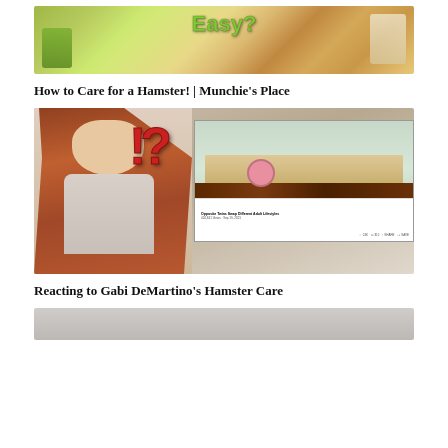[Figure (screenshot): Video thumbnail for hamster care video showing green packaging and text 'Easy?' with hamster food products]
How to Care for a Hamster! | Munchie's Place
[Figure (screenshot): Video thumbnail showing a girl with red hair reacting to a YouTube video about Gabi DeMartino's hamster care, with '!?' text overlay and a hamster tank screenshot]
Reacting to Gabi DeMartino's Hamster Care
[Figure (photo): Partial thumbnail of a third video, cut off at bottom of page]